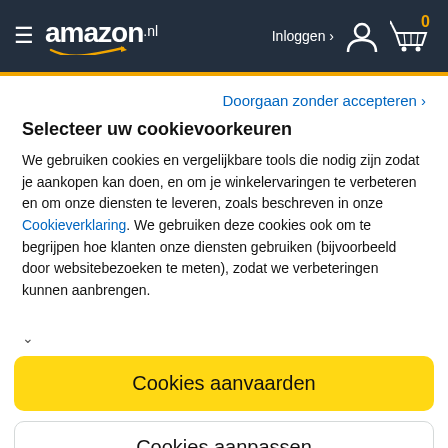[Figure (screenshot): Amazon.nl navigation header with hamburger menu, Amazon logo with orange smile, Inloggen link with person icon, and cart icon with 0 badge]
Doorgaan zonder accepteren ›
Selecteer uw cookievoorkeuren
We gebruiken cookies en vergelijkbare tools die nodig zijn zodat je aankopen kan doen, en om je winkelervaringen te verbeteren en om onze diensten te leveren, zoals beschreven in onze Cookieverklaring. We gebruiken deze cookies ook om te begrijpen hoe klanten onze diensten gebruiken (bijvoorbeeld door websitebezoeken te meten), zodat we verbeteringen kunnen aanbrengen.
Cookies aanvaarden
Cookies aanpassen